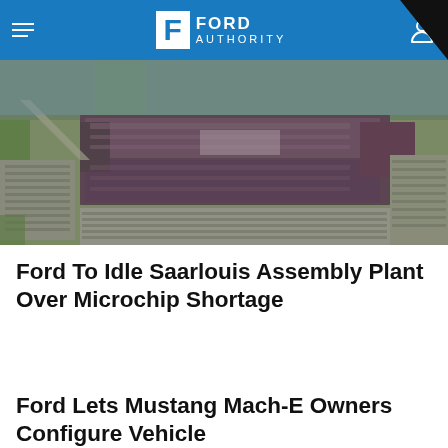Ford Authority
[Figure (photo): Aerial view of Ford Saarlouis Assembly Plant showing large factory buildings surrounded by parking lots filled with vehicles]
Ford To Idle Saarlouis Assembly Plant Over Microchip Shortage
Ford Lets Mustang Mach-E Owners Configure Vehicle